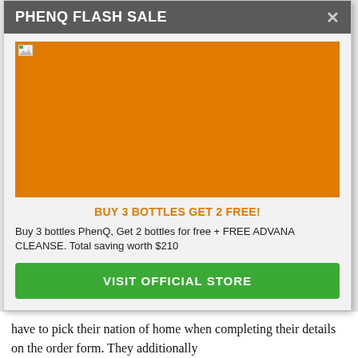have to pick their nation of home when completing their details on the order form. They additionally
PHENQ FLASH SALE
[Figure (illustration): Orange promotional banner image placeholder (broken image icon visible in top-left corner)]
BUY 3 BOTTLES GET 2 FREE!
Buy 3 bottles PhenQ, Get 2 bottles for free + FREE ADVANA CLEANSE. Total saving worth $210
VISIT OFFICIAL STORE